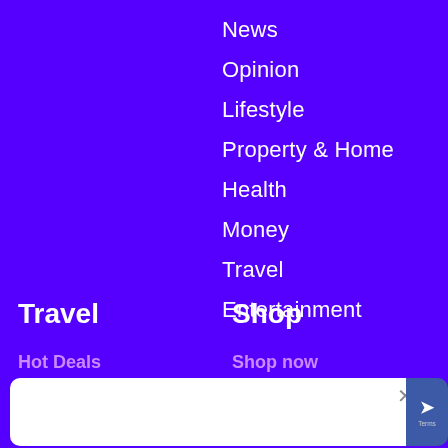News
Opinion
Lifestyle
Property & Home
Health
Money
Travel
Entertainment
Travel
Shop
Hot Deals
Cruises
Shop now
Ageing & Independence
[Figure (screenshot): Modal popup overlay with close button and reCAPTCHA badge]